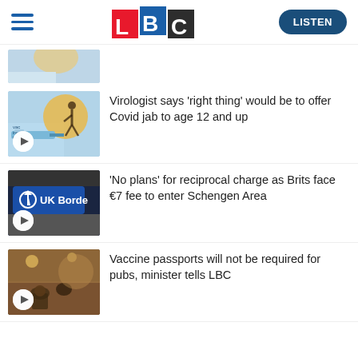LBC — LISTEN
[Figure (photo): Partially visible top thumbnail image, cropped at top of page]
[Figure (photo): Vaccine and syringe with person silhouette — article thumbnail with play button]
Virologist says 'right thing' would be to offer Covid jab to age 12 and up
[Figure (photo): UK Border sign at airport — article thumbnail with play button]
'No plans' for reciprocal charge as Brits face €7 fee to enter Schengen Area
[Figure (photo): Pub interior scene — article thumbnail with play button]
Vaccine passports will not be required for pubs, minister tells LBC